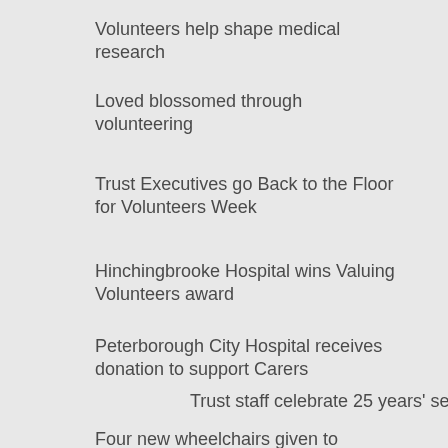Volunteers help shape medical research
Loved blossomed through volunteering
Trust Executives go Back to the Floor for Volunteers Week
Hinchingbrooke Hospital wins Valuing Volunteers award
Peterborough City Hospital receives donation to support Carers
Trust staff celebrate 25 years' service
Four new wheelchairs given to Hinchingbrooke Hospital